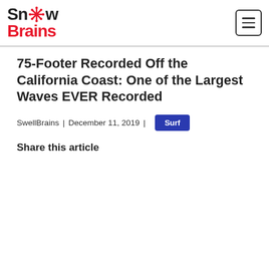SnowBrains
75-Footer Recorded Off the California Coast: One of the Largest Waves EVER Recorded
SwellBrains | December 11, 2019 | Surf
Share this article